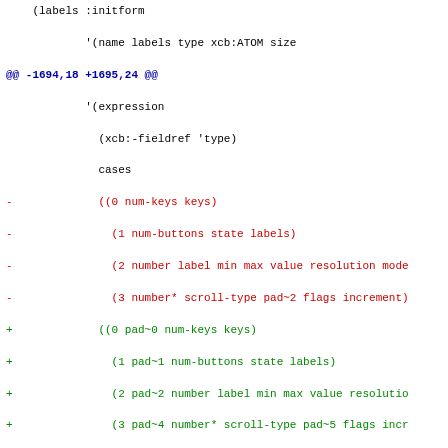Unified diff/code block showing changes to Lisp/XCB source code. Lines showing removed entries (prefixed with -) for num-keys keys, num-buttons state labels, number label min max value resolution mode, number* scroll-type pad~2 flags increment, and added lines (prefixed with +) for updated versions with pad~0, pad~1, pad~2, pad~4, pad~5 prefixes, plus new pad~0 :initform [4 2] :type xcb:-pad-align, keys initarg/initform blocks, pad~1 :initform [4 2] :type xcb:-pad-align, num-buttons :initarg :num-buttons :type xcb:CARD16, state :initarg :state :type xcb:-ignore, and state~ :initform.